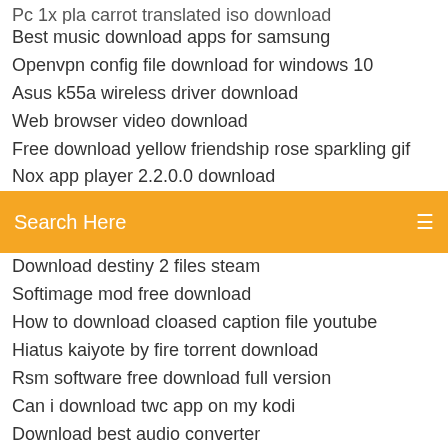Pc 1x pla carrot translated iso download
Best music download apps for samsung
Openvpn config file download for windows 10
Asus k55a wireless driver download
Web browser video download
Free download yellow friendship rose sparkling gif
Nox app player 2.2.0.0 download
[Figure (screenshot): Search bar with orange background and white 'Search Here' placeholder text and a menu icon on the right]
Download destiny 2 files steam
Softimage mod free download
How to download cloased caption file youtube
Hiatus kaiyote by fire torrent download
Rsm software free download full version
Can i download twc app on my kodi
Download best audio converter
Cant download tera armor mod skyrim
Sansa driver download wizard
Photoshop free download full version windows 10